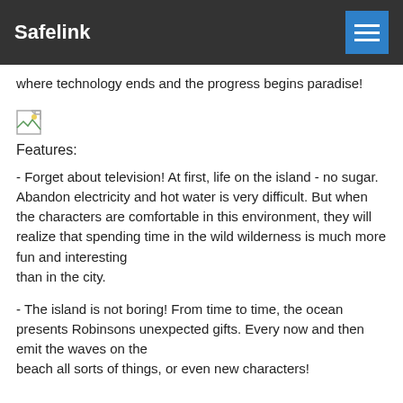Safelink
where technology ends and the progress begins paradise!
[Figure (illustration): Broken image placeholder icon (small image with torn corner)]
Features:
- Forget about television! At first, life on the island - no sugar. Abandon electricity and hot water is very difficult. But when the characters are comfortable in this environment, they will realize that spending time in the wild wilderness is much more fun and interesting than in the city.
- The island is not boring! From time to time, the ocean presents Robinsons unexpected gifts. Every now and then emit the waves on the beach all sorts of things, or even new characters!